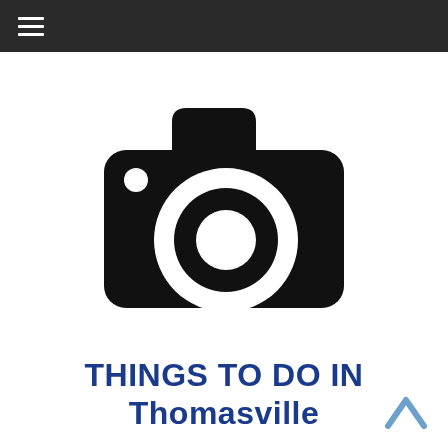☰ (hamburger menu)
[Figure (illustration): Black camera icon silhouette on white background, showing a DSLR-style camera body with a large circular lens in the center and a small viewfinder bump on top left. A small white circle appears at the top-left corner of the camera body representing the flash.]
THINGS TO DO IN Thomasville